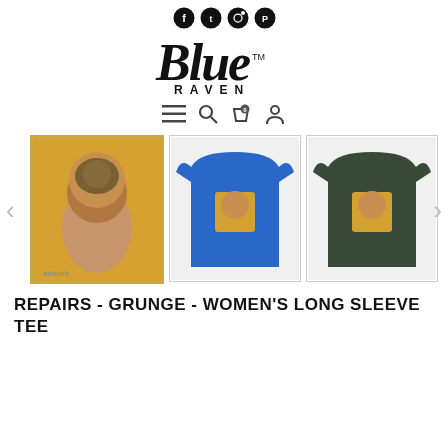[Figure (logo): Social media icons: Facebook, Twitter, Google+/Email, Pinterest]
[Figure (logo): Blue Raven brand logo with TM mark]
[Figure (infographic): Navigation icons: hamburger menu, search, shopping cart with badge, user account]
[Figure (photo): Product gallery showing three images: artwork of person with mechanical head, blue long sleeve tee with artwork, dark green long sleeve tee with artwork. Left arrow and right arrow navigation.]
REPAIRS - GRUNGE - WOMEN'S LONG SLEEVE TEE